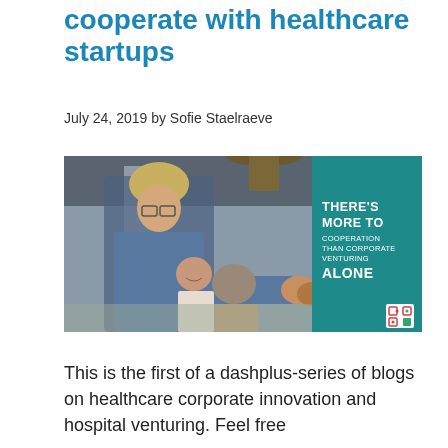cooperate with healthcare startups
July 24, 2019 by Sofie Staelraeve
[Figure (photo): A man with glasses and long blonde hair in a blue patterned shirt shaking hands across a table with another person, while two people sit in the background smiling. The right portion of the image has a teal background with white text reading: THERE'S MORE TO COOPERATION THAN CORPORATE VENTURING ALONE, with a small logo in the bottom right corner.]
This is the first of a dashplus-series of blogs on healthcare corporate innovation and hospital venturing. Feel free